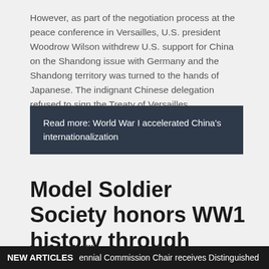However, as part of the negotiation process at the peace conference in Versailles, U.S. president Woodrow Wilson withdrew U.S. support for China on the Shandong issue with Germany and the Shandong territory was turned to the hands of Japanese. The indignant Chinese delegation refused to sign the Treaty of Versailles.
Read more: World War I accelerated China's internationalization
Model Soldier Society honors WW1 history through miniature art
By Michael Williams
Staff Writer
NEW ARTICLES  ennial Commission Chair receives Distinguished